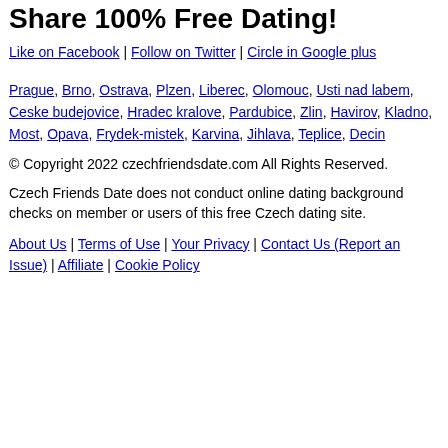Share 100% Free Dating!
Like on Facebook | Follow on Twitter | Circle in Google plus
Prague, Brno, Ostrava, Plzen, Liberec, Olomouc, Usti nad labem, Ceske budejovice, Hradec kralove, Pardubice, Zlin, Havirov, Kladno, Most, Opava, Frydek-mistek, Karvina, Jihlava, Teplice, Decin
© Copyright 2022 czechfriendsdate.com All Rights Reserved.
Czech Friends Date does not conduct online dating background checks on member or users of this free Czech dating site.
About Us | Terms of Use | Your Privacy | Contact Us (Report an Issue) | Affiliate | Cookie Policy